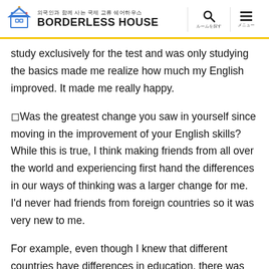외국인과 함께 사는 국제 교류 쉐어하우스 BORDERLESS HOUSE
study exclusively for the test and was only studying the basics made me realize how much my English improved. It made me really happy.
◻Was the greatest change you saw in yourself since moving in the improvement of your English skills? While this is true, I think making friends from all over the world and experiencing first hand the differences in our ways of thinking was a larger change for me. I'd never had friends from foreign countries so it was very new to me.
For example, even though I knew that different countries have differences in education, there was never a chance for